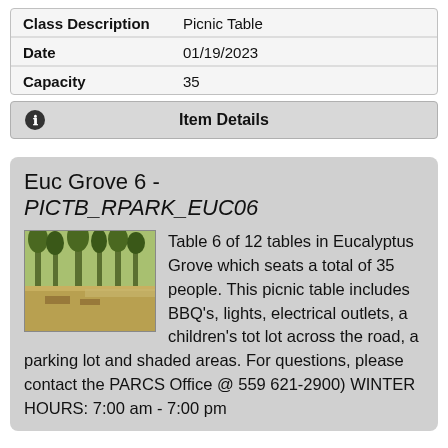| Field | Value |
| --- | --- |
| Class Description | Picnic Table |
| Date | 01/19/2023 |
| Capacity | 35 |
Item Details
Euc Grove 6 - PICTB_RPARK_EUC06
[Figure (photo): Outdoor park photo showing eucalyptus trees, picnic tables, and open ground area]
Table 6 of 12 tables in Eucalyptus Grove which seats a total of 35 people. This picnic table includes BBQ's, lights, electrical outlets, a children's tot lot across the road, a parking lot and shaded areas. For questions, please contact the PARCS Office @ 559 621-2900) WINTER HOURS: 7:00 am - 7:00 pm